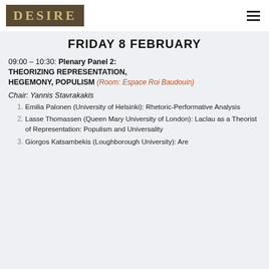DESIRE (logo) | hamburger menu
FRIDAY 8 FEBRUARY
09:00 – 10:30: Plenary Panel 2: THEORIZING REPRESENTATION, HEGEMONY, POPULISM (Room: Espace Roi Baudouin)
Chair: Yannis Stavrakakis
Emilia Palonen (University of Helsinki): Rhetoric-Performative Analysis
Lasse Thomassen (Queen Mary University of London): Laclau as a Theorist of Representation: Populism and Universality
Giorgos Katsambekis (Loughborough University): Are